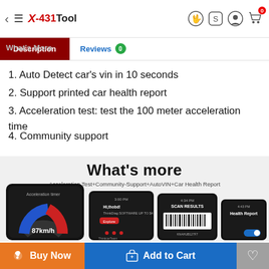X-431Tool
Description | Reviews 0
What's More
1. Auto Detect car's vin in 10 seconds
2. Support printed car health report
3. Acceleration test: test the 100 meter acceleration time
4. Community support
[Figure (screenshot): Product feature graphic showing 'What's more' with subtitle 'Acceleration Test+Community-Support+AutoVIN+Car Health Report' and phone screenshots showing Acceleration timer at 87km/h, community chat, scan results barcode, and Health Report screens.]